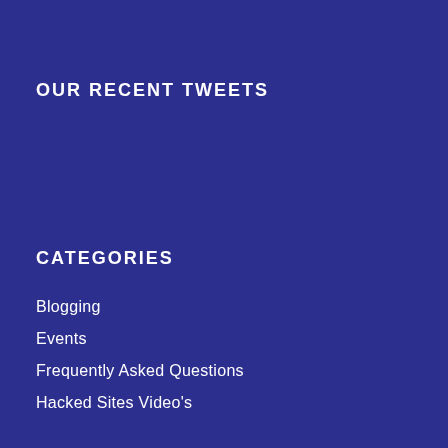OUR RECENT TWEETS
CATEGORIES
Blogging
Events
Frequently Asked Questions
Hacked Sites Video's
News
Pay Per Click
SEO Tips